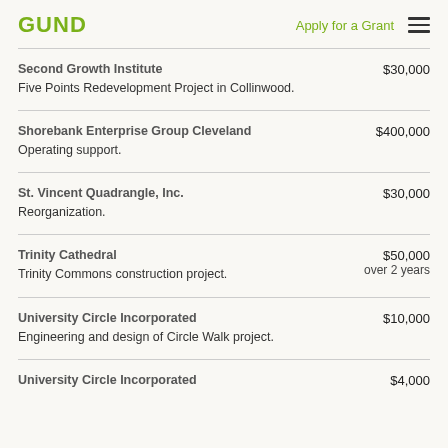GUND   Apply for a Grant
Second Growth Institute — Five Points Redevelopment Project in Collinwood. $30,000
Shorebank Enterprise Group Cleveland — Operating support. $400,000
St. Vincent Quadrangle, Inc. — Reorganization. $30,000
Trinity Cathedral — Trinity Commons construction project. $50,000 over 2 years
University Circle Incorporated — Engineering and design of Circle Walk project. $10,000
University Circle Incorporated — $4,000